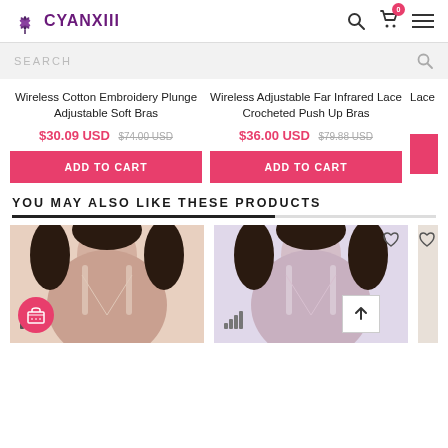CYANXIII
SEARCH
Wireless Cotton Embroidery Plunge Adjustable Soft Bras
$30.09 USD $74.00 USD
ADD TO CART
Wireless Adjustable Far Infrared Lace Crocheted Push Up Bras
$36.00 USD $79.88 USD
ADD TO CART
Lace
YOU MAY ALSO LIKE THESE PRODUCTS
[Figure (photo): Two product photos of women modeling bras, partially visible third photo]
[Figure (logo): CYANXIII brand logo with lotus/leaf icon]